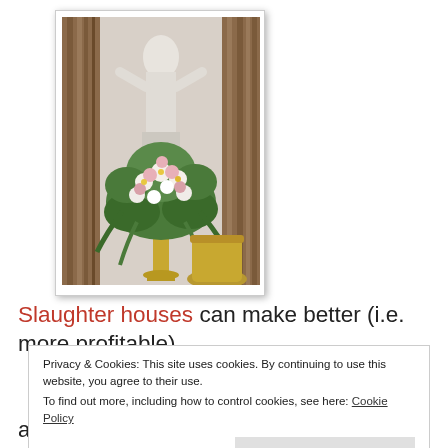[Figure (photo): A tall gold pedestal stand holding a large floral arrangement with white and pink flowers and greenery, set inside an ornate room with a classical white statue in the background and decorative curtains on either side.]
Slaughter houses can make better (i.e. more profitable)
Privacy & Cookies: This site uses cookies. By continuing to use this website, you agree to their use.
To find out more, including how to control cookies, see here: Cookie Policy
Close and accept
arrangement; few industries are more ruthless than